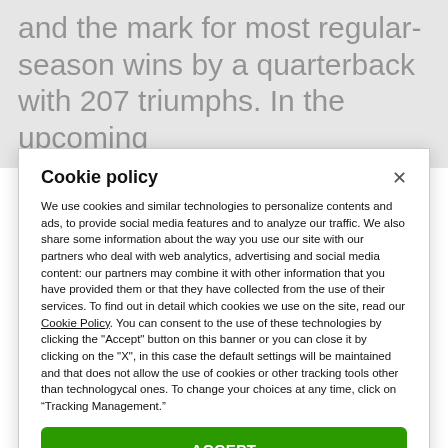and the mark for most regular-season wins by a quarterback with 207 triumphs. In the upcoming
Cookie policy
We use cookies and similar technologies to personalize contents and ads, to provide social media features and to analyze our traffic. We also share some information about the way you use our site with our partners who deal with web analytics, advertising and social media content: our partners may combine it with other information that you have provided them or that they have collected from the use of their services. To find out in detail which cookies we use on the site, read our Cookie Policy. You can consent to the use of these technologies by clicking the "Accept" button on this banner or you can close it by clicking on the "X", in this case the default settings will be maintained and that does not allow the use of cookies or other tracking tools other than technologycal ones. To change your choices at any time, click on “Tracking Management.”
ACCEPT
TRACKERS MANAGEMENT
Show vendors | Show purposes